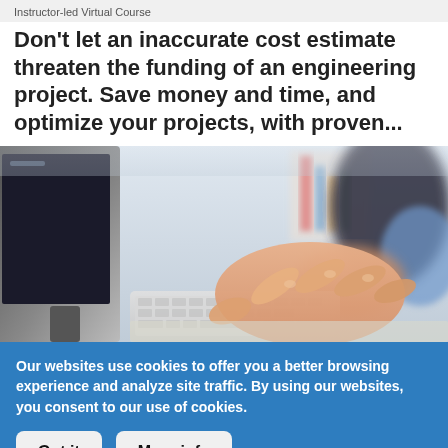Instructor-led Virtual Course
Don't let an inaccurate cost estimate threaten the funding of an engineering project. Save money and time, and optimize your projects, with proven...
[Figure (photo): Two people typing on keyboards at a desk with a monitor visible on the left; close-up of hands on keyboards in an office environment.]
Our websites use cookies to offer you a better browsing experience and analyze site traffic. By using our websites, you consent to our use of cookies.
Got it   More info